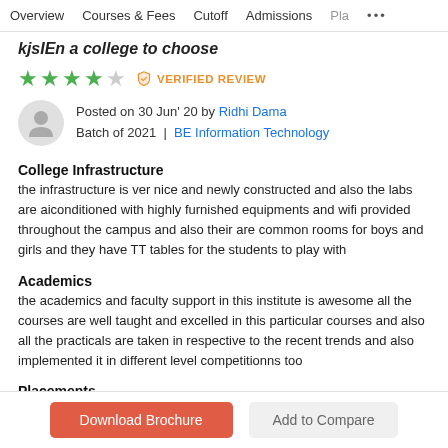Overview   Courses & Fees   Cutoff   Admissions   Pla...
kjsIEn a college to choose
★★★★☆  VERIFIED REVIEW
Posted on 30 Jun' 20 by Ridhi Dama
Batch of 2021 | BE Information Technology
College Infrastructure
the infrastructure is ver nice and newly constructed and also the labs are aiconditioned with highly furnished equipments and wifi provided throughout the campus and also their are common rooms for boys and girls and they have TT tables for the students to play with
Academics
the academics and faculty support in this institute is awesome all the courses are well taught and excelled in this particular courses and also all the practicals are taken in respective to the recent trends and also implemented it in different level competitionns too
Placements
placements in kj are nice! 70-80% students are placed every year with very nice packages with nice packages. Placements are across india and
Download Brochure   Add to Compare